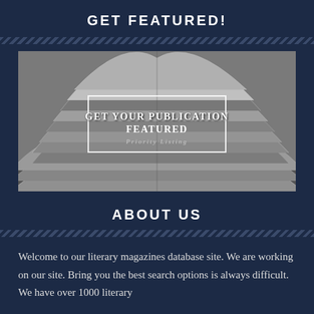GET FEATURED!
[Figure (photo): Black and white photograph of stacked open magazines/publications, with an overlaid white-bordered box containing the text 'GET YOUR PUBLICATION FEATURED' and 'Priority Listing']
ABOUT US
Welcome to our literary magazines database site. We are working on our site. Bring you the best search options is always difficult. We have over 1000 literary